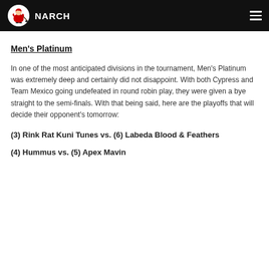NARCH
Men's Platinum
In one of the most anticipated divisions in the tournament, Men's Platinum was extremely deep and certainly did not disappoint. With both Cypress and Team Mexico going undefeated in round robin play, they were given a bye straight to the semi-finals. With that being said, here are the playoffs that will decide their opponent's tomorrow:
(3) Rink Rat Kuni Tunes vs. (6) Labeda Blood & Feathers
(4) Hummus vs. (5) Apex Mavin